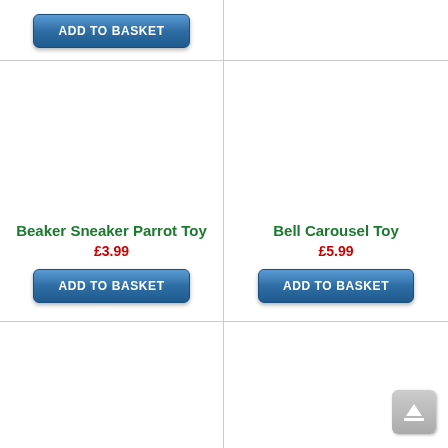[Figure (screenshot): E-commerce product listing page showing two product cards: 'Beaker Sneaker Parrot Toy' at £3.99 and 'Bell Carousel Toy' at £5.99, each with an 'ADD TO BASKET' button. A partial 'ADD TO BASKET' button is visible at the top-left. A scroll-to-top icon button appears at bottom-right.]